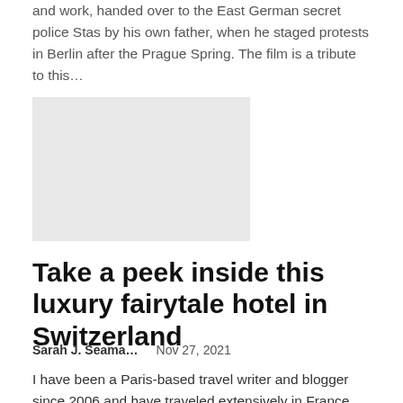and work, handed over to the East German secret police Stas by his own father, when he staged protests in Berlin after the Prague Spring. The film is a tribute to this…
[Figure (photo): Placeholder image for article thumbnail]
Take a peek inside this luxury fairytale hotel in Switzerland
Sarah J. Seama…    Nov 27, 2021
I have been a Paris-based travel writer and blogger since 2006 and have traveled extensively in France and Europe including Italy, Spain, Portugal, Malta, Norway, Czech Republic, England and Ireland . I have also stayed in all categories…